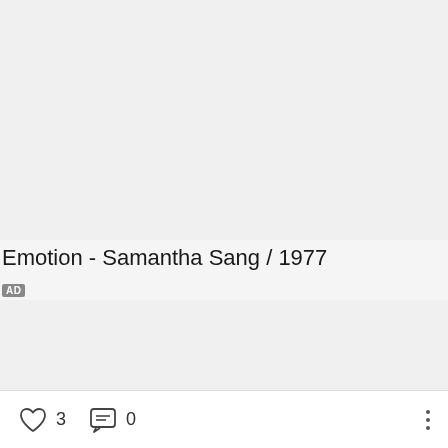[Figure (other): Blank gray image/video thumbnail area]
Emotion - Samantha Sang / 1977
AD
[Figure (other): Ad content area, gray background]
3
0